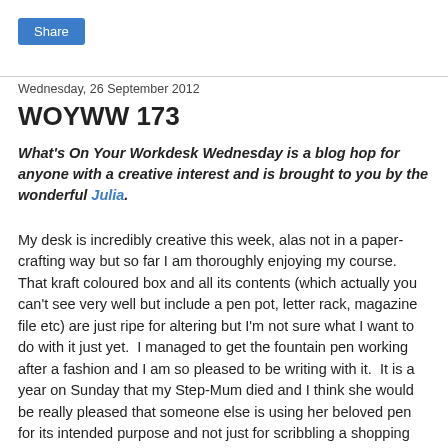Share
Wednesday, 26 September 2012
WOYWW 173
What's On Your Workdesk Wednesday is a blog hop for anyone with a creative interest and is brought to you by the wonderful Julia.
My desk is incredibly creative this week, alas not in a paper-crafting way but so far I am thoroughly enjoying my course.  That kraft coloured box and all its contents (which actually you can't see very well but include a pen pot, letter rack, magazine file etc) are just ripe for altering but I'm not sure what I want to do with it just yet.  I managed to get the fountain pen working after a fashion and I am so pleased to be writing with it.  It is a year on Sunday that my Step-Mum died and I think she would be really pleased that someone else is using her beloved pen for its intended purpose and not just for scribbling a shopping list.